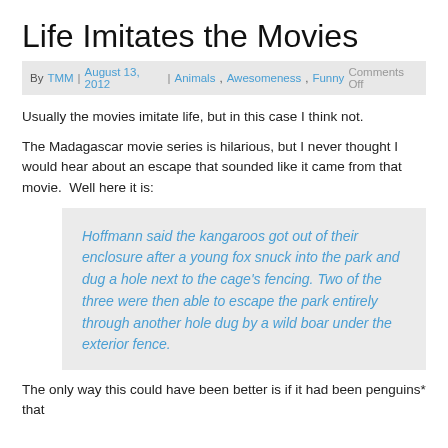Life Imitates the Movies
By TMM | August 13, 2012 | Animals, Awesomeness, Funny   Comments Off
Usually the movies imitate life, but in this case I think not.
The Madagascar movie series is hilarious, but I never thought I would hear about an escape that sounded like it came from that movie.  Well here it is:
Hoffmann said the kangaroos got out of their enclosure after a young fox snuck into the park and dug a hole next to the cage’s fencing. Two of the three were then able to escape the park entirely through another hole dug by a wild boar under the exterior fence.
The only way this could have been better is if it had been penguins* that